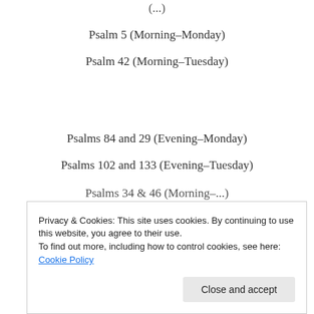(...)
Psalm 5 (Morning–Monday)
Psalm 42 (Morning–Tuesday)
Psalms 84 and 29 (Evening–Monday)
Psalms 102 and 133 (Evening–Tuesday)
Privacy & Cookies: This site uses cookies. By continuing to use this website, you agree to their use.
To find out more, including how to control cookies, see here: Cookie Policy
Close and accept